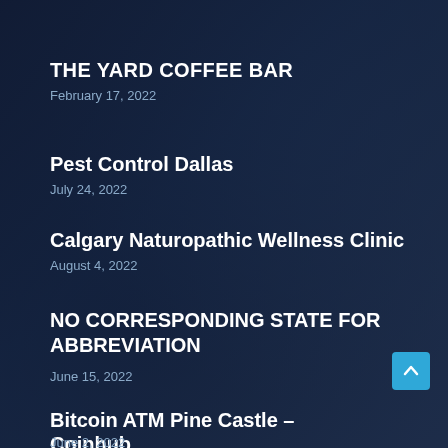THE YARD COFFEE BAR
February 17, 2022
Pest Control Dallas
July 24, 2022
Calgary Naturopathic Wellness Clinic
August 4, 2022
NO CORRESPONDING STATE FOR ABBREVIATION
June 15, 2022
Bitcoin ATM Pine Castle – Coinhub
June 2, 2022